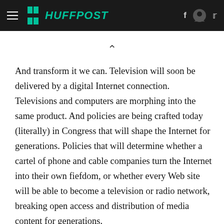HUFFPOST
And transform it we can. Television will soon be delivered by a digital Internet connection. Televisions and computers are morphing into the same product. And policies are being crafted today (literally) in Congress that will shape the Internet for generations. Policies that will determine whether a cartel of phone and cable companies turn the Internet into their own fiefdom, or whether every Web site will be able to become a television or radio network, breaking open access and distribution of media content for generations.